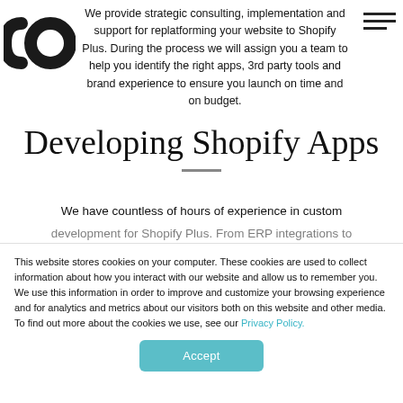[Figure (logo): Partial logo mark showing stylized letters, dark gray, top left corner]
We provide strategic consulting, implementation and support for replatforming your website to Shopify Plus. During the process we will assign you a team to help you identify the right apps, 3rd party tools and brand experience to ensure you launch on time and on budget.
Developing Shopify Apps
We have countless of hours of experience in custom development for Shopify Plus. From ERP integrations to
This website stores cookies on your computer. These cookies are used to collect information about how you interact with our website and allow us to remember you. We use this information in order to improve and customize your browsing experience and for analytics and metrics about our visitors both on this website and other media. To find out more about the cookies we use, see our Privacy Policy.
Accept